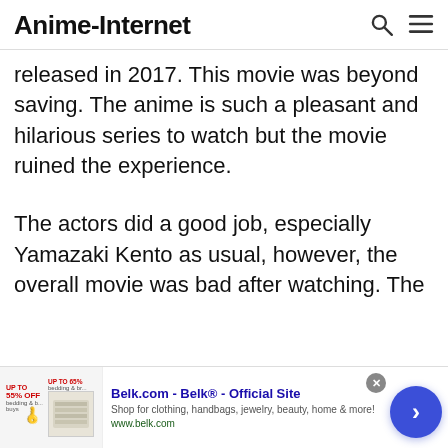Anime-Internet
released in 2017. This movie was beyond saving. The anime is such a pleasant and hilarious series to watch but the movie ruined the experience.
The actors did a good job, especially Yamazaki Kento as usual, however, the overall movie was bad after watching. The
[Figure (screenshot): Advertisement banner for Belk.com - Belk® - Official Site. Shop for clothing, handbags, jewelry, beauty, home & more! www.belk.com]